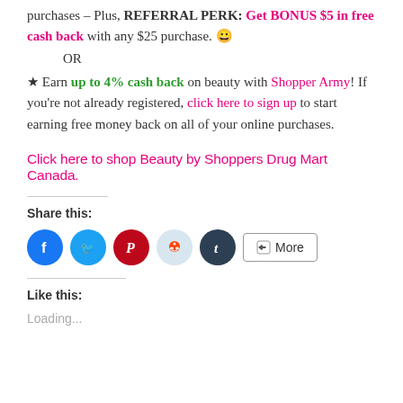purchases – Plus, REFERRAL PERK: Get BONUS $5 in free cash back with any $25 purchase. 😀
    OR
★ Earn up to 4% cash back on beauty with Shopper Army! If you're not already registered, click here to sign up to start earning free money back on all of your online purchases.
Click here to shop Beauty by Shoppers Drug Mart Canada.
Share this:
[Figure (infographic): Social share buttons: Facebook (blue circle), Twitter (cyan circle), Pinterest (red circle), Reddit (light blue circle), Tumblr (dark circle), More button (outlined rectangle with share icon)]
Like this:
Loading...